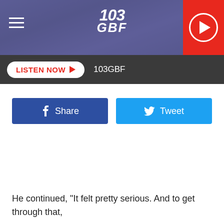[Figure (screenshot): 103GBF radio station header banner with blurred background, hamburger menu icon on left, 103 GBF logo in center, red play button on right]
LISTEN NOW  103GBF
[Figure (infographic): Facebook Share button (dark blue) and Twitter Tweet button (light blue) side by side]
He continued, "It felt pretty serious. And to get through that,